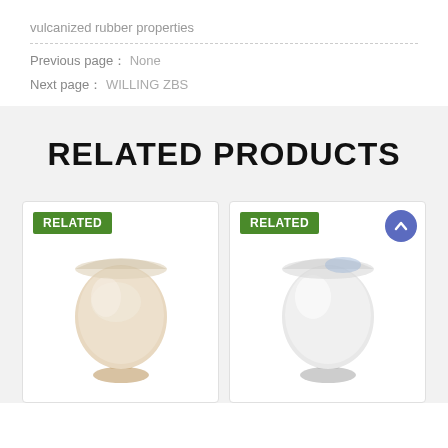vulcanized rubber properties
Previous page： None
Next page： WILLING ZBS
RELATED PRODUCTS
[Figure (photo): Product photo showing a white/cream powder chemical substance in a flask-shaped display container with a green RELATED badge overlay]
[Figure (photo): Product photo showing a white powder chemical substance in a flask-shaped display container with a green RELATED badge and blue scroll-to-top button overlay]